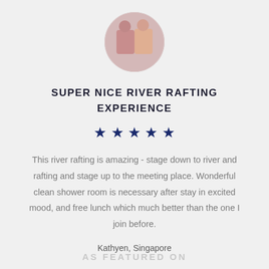[Figure (photo): Circular avatar photo of two people smiling]
SUPER NICE RIVER RAFTING EXPERIENCE
[Figure (other): 5 dark blue stars rating]
This river rafting is amazing - stage down to river and rafting and stage up to the meeting place. Wonderful clean shower room is necessary after stay in excited mood, and free lunch which much better than the one I join before.
Kathyen, Singapore
AS FEATURED ON